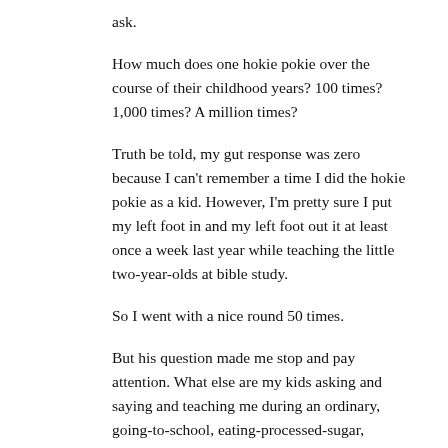ask.
How much does one hokie pokie over the course of their childhood years? 100 times? 1,000 times? A million times?
Truth be told, my gut response was zero because I can't remember a time I did the hokie pokie as a kid. However, I'm pretty sure I put my left foot in and my left foot out it at least once a week last year while teaching the little two-year-olds at bible study.
So I went with a nice round 50 times.
But his question made me stop and pay attention. What else are my kids asking and saying and teaching me during an ordinary, going-to-school, eating-processed-sugar, making-crafts week? They really are some of my favorite teachers. Simple, straight-forward, silly. All delightful and precious things I overlook.